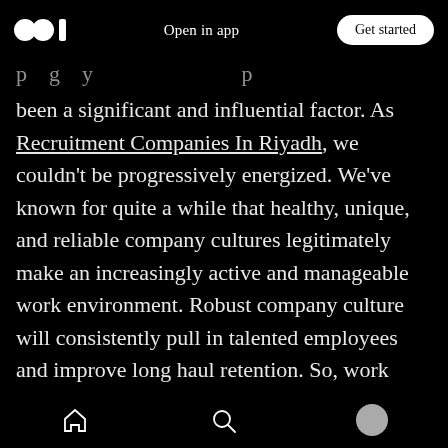Open in app | Get started
p g y p
been a significant and influential factor. As Recruitment Companies In Riyadh, we couldn't be progressively energized. We've known for quite a while that healthy, unique, and reliable company cultures legitimately make an increasingly active and manageable work environment. Robust company culture will consistently pull in talented employees and improve long haul retention. So, work culture related examinations have recently demonstrated that activity turnover at an association with a positive culture is shv of 14%.
Home | Search | Profile